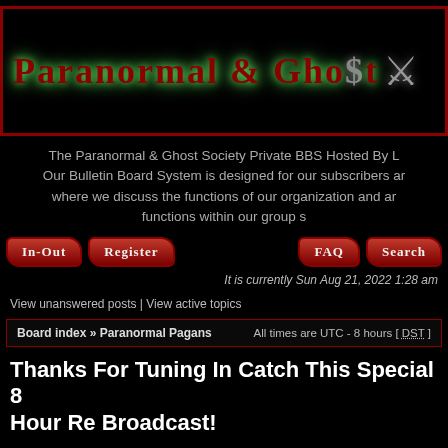[Figure (logo): Paranormal & Ghost Society logo banner with dark background, red border, glowing green text and sword icon]
The Paranormal & Ghost Society Private BBS Hosted By ... Our Bulletin Board System is designed for our subscribers ar... where we discuss the functions of our organization and ar... functions within our group s...
[Figure (infographic): Navigation buttons: In-Out, Register, FAQ, Search with red gradient styling]
It is currently Sun Aug 21, 2022 1:28 am
View unanswered posts | View active topics
Board index » Paranormal Pagans    All times are UTC - 8 hours [ DST ]
Thanks For Tuning In Catch This Special 8 Hour Re Broadcast!